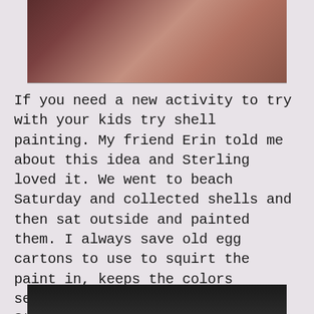[Figure (photo): Top portion of a photo showing warm brown/red tones, appears to be a close-up image]
If you need a new activity to try with your kids try shell painting. My friend Erin told me about this idea and Sterling loved it. We went to beach Saturday and collected shells and then sat outside and painted them. I always save old egg cartons to use to squirt the paint in, keeps the colors separated and works great. Sterling still keeps saying “paint shells.” Kept him occupied for a little which was nice:)
[Figure (photo): Bottom portion of a photo, dark/black tones visible at the bottom edge of the page]